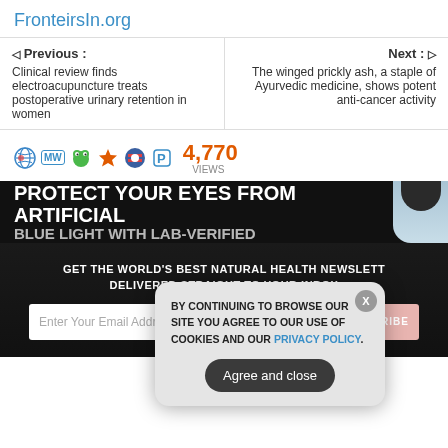FronteirsIn.org
Previous : Clinical review finds electroacupuncture treats postoperative urinary retention in women
Next : The winged prickly ash, a staple of Ayurvedic medicine, shows potent anti-cancer activity
4,770 VIEWS
[Figure (screenshot): Advertisement banner: PROTECT YOUR EYES FROM ARTIFICIAL BLUE LIGHT WITH LAB-VERIFIED with a person image on the right]
[Figure (screenshot): Dark newsletter subscription section with text GET THE WORLD'S BEST NATURAL HEALTH NEWSLETTER DELIVERED STRAIGHT TO YOUR INBOX with email input and SUBSCRIBE button and X close icon]
[Figure (screenshot): Cookie consent modal overlay: BY CONTINUING TO BROWSE OUR SITE YOU AGREE TO OUR USE OF COOKIES AND OUR PRIVACY POLICY. with Agree and close button and X dismiss button]